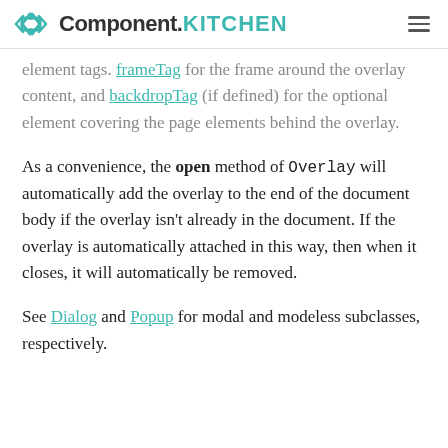Component.KITCHEN
element tags. frameTag for the frame around the overlay content, and backdropTag (if defined) for the optional element covering the page elements behind the overlay.
As a convenience, the open method of Overlay will automatically add the overlay to the end of the document body if the overlay isn't already in the document. If the overlay is automatically attached in this way, then when it closes, it will automatically be removed.
See Dialog and Popup for modal and modeless subclasses, respectively.